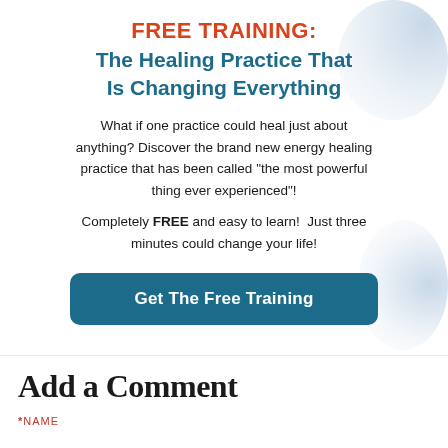FREE TRAINING: The Healing Practice That Is Changing Everything
What if one practice could heal just about anything? Discover the brand new energy healing practice that has been called "the most powerful thing ever experienced"!
Completely FREE and easy to learn!  Just three minutes could change your life!
[Figure (other): Call-to-action button: Get The Free Training]
Add a Comment
*NAME